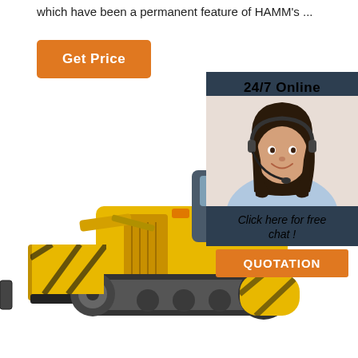which have been a permanent feature of HAMM's ...
[Figure (other): Orange 'Get Price' button]
[Figure (other): Customer service agent with headset - 24/7 Online chat widget with dark blue background, agent photo, 'Click here for free chat!' text, and orange QUOTATION button]
[Figure (photo): Yellow bulldozer / crawler dozer construction equipment on white background]